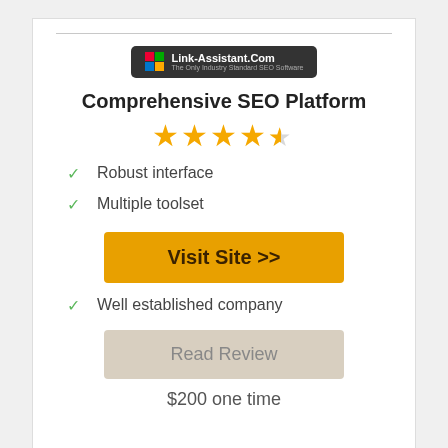[Figure (logo): Link-Assistant.Com logo — dark background with colored squares grid and white text]
Comprehensive SEO Platform
[Figure (other): 4.5 star rating shown as 4 full gold stars and 1 half gold star]
Robust interface
Multiple toolset
Visit Site >>
Well established company
Read Review
$200 one time